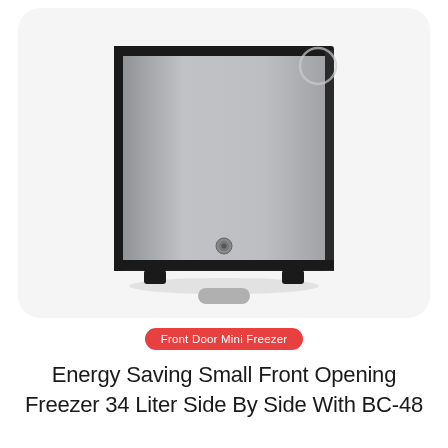[Figure (photo): A small compact front-opening mini freezer with a stainless steel/silver door panel, black body frame, and small rubber feet. The door has a small circular lock/latch near the bottom center. A partial circular element is visible in the upper right corner. The appliance is displayed on a light gray rounded-rectangle card background, with a gray swipe/drag handle at the bottom of the card.]
Front Door Mini Freezer
Energy Saving Small Front Opening Freezer 34 Liter Side By Side With BC-48